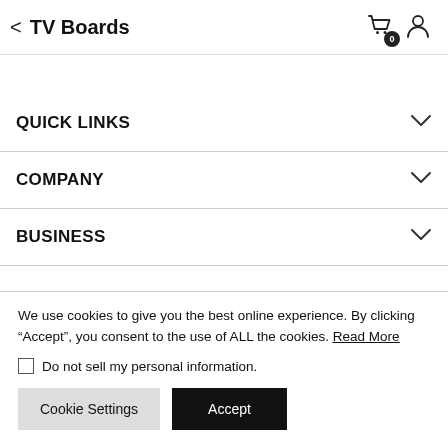< TV Boards
QUICK LINKS
COMPANY
BUSINESS
We use cookies to give you the best online experience. By clicking “Accept”, you consent to the use of ALL the cookies. Read More
Do not sell my personal information.
Cookie Settings | Accept